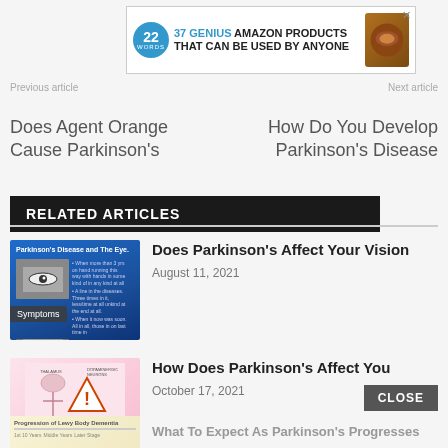[Figure (screenshot): Advertisement banner: 37 Genius Amazon Products That Can Be Used By Anyone, with product image]
Previous article
Next article
Does Agent Orange Cause Parkinson's
How Do You Develop Parkinson's Disease
RELATED ARTICLES
[Figure (screenshot): Article thumbnail: Parkinson's Disease and The Eye, showing close-up of eyes]
Does Parkinson's Affect Your Vision
August 11, 2021
[Figure (screenshot): Article thumbnail: How Does Parkinson's Affect You, pink diagram with warning triangle]
How Does Parkinson's Affect You
October 17, 2021
[Figure (screenshot): Article thumbnail: Progression of Lewy Body Dementia table]
What To Expect As Parkinson's Progresses